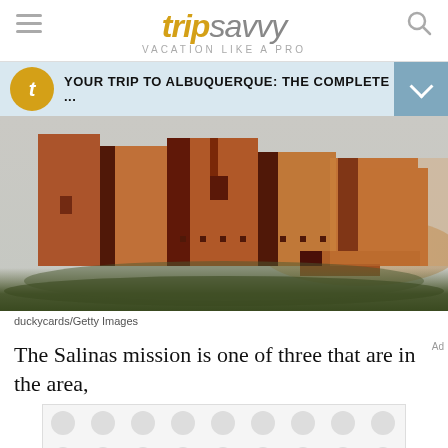tripsavvy VACATION LIKE A PRO
YOUR TRIP TO ALBUQUERQUE: THE COMPLETE ...
[Figure (photo): Ruins of the Salinas mission, a large red-brick adobe structure with multiple towers and walls in varying heights, set against a pale sky with green grass in the foreground.]
duckycards/Getty Images
The Salinas mission is one of three that are in the area,
[Figure (other): Advertisement placeholder with circular dot pattern on grey background.]